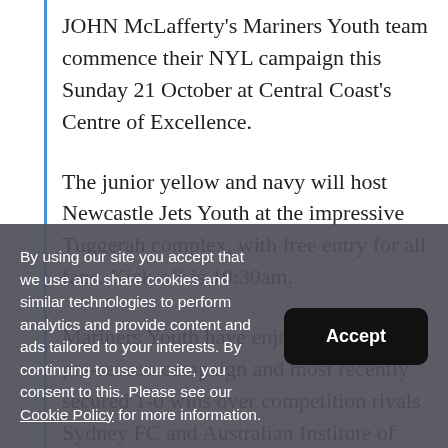JOHN McLafferty's Mariners Youth team commence their NYL campaign this Sunday 21 October at Central Coast's Centre of Excellence.
The junior yellow and navy will host Newcastle Jets Youth at the impressive Tuggerah complex, with free entry for all fans. Kick-off is 10:30am.
Mariners Youth have enjoyed a strong pre-season campaign and most recently secured 1-0 wins over competition rivals Sydney FC and Australian Institute of Sport (AIS).
By using our site you accept that we use and share cookies and similar technologies to perform analytics and provide content and ads tailored to your interests. By continuing to use our site, you consent to this. Please see our Cookie Policy for more information.